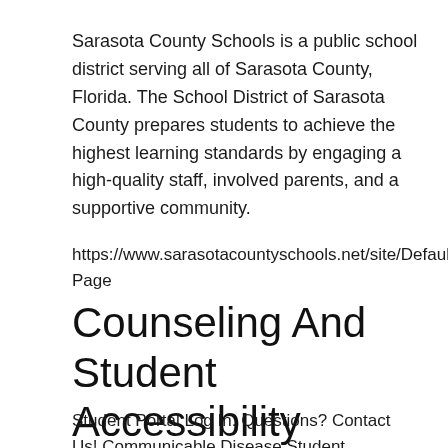Sarasota County Schools is a public school district serving all of Sarasota County, Florida. The School District of Sarasota County prepares students to achieve the highest learning standards by engaging a high-quality staff, involved parents, and a supportive community.
https://www.sarasotacountyschools.net/site/Default.aspx?Page
Counseling And Student Accessibility Services | South ...
Student Portal Log In. Questions? Contact Us! Communicable Disease Student Reporting.